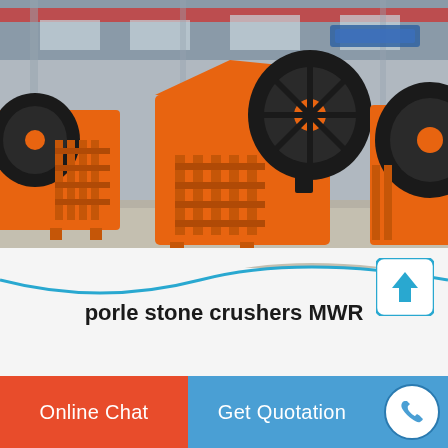[Figure (photo): Industrial jaw crushers painted orange with large black flywheels, arranged in a factory/warehouse setting with concrete floor and steel structure roof.]
porle stone crushers MWR
Online Chat
Get Quotation